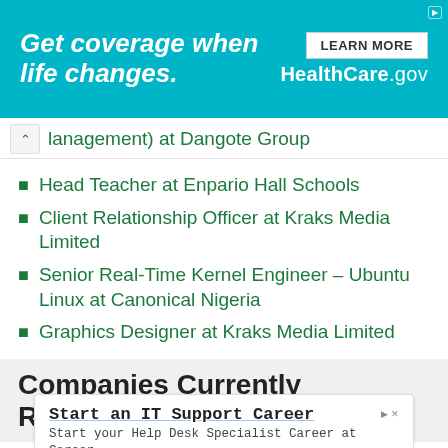[Figure (screenshot): Top advertisement banner for HealthCare.gov with teal background. Text: 'Get coverage when life changes.' with a 'LEARN MORE' button and 'HealthCare.gov' branding on the right.]
lanagement) at Dangote Group
Head Teacher at Enpario Hall Schools
Client Relationship Officer at Kraks Media Limited
Senior Real-Time Kernel Engineer – Ubuntu Linux at Canonical Nigeria
Graphics Designer at Kraks Media Limited
Companies Currently Recruiting
[Figure (screenshot): Bottom inline advertisement for CareerTechnical Institute. Title: 'Start an IT Support Career'. Body: 'Start your Help Desk Specialist Career at Career Technical Institute'. Brand: 'CareerTechnical Institute'. Button: 'Open'.]